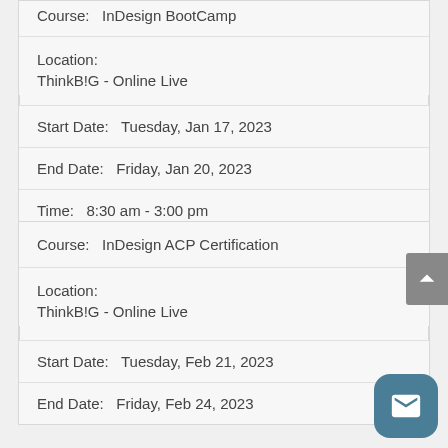Course: InDesign BootCamp
Location:
ThinkB!G - Online Live
Start Date:    Tuesday, Jan 17, 2023
End Date:    Friday, Jan 20, 2023
Time:    8:30 am - 3:00 pm
Register
Course:    InDesign ACP Certification
Location:
ThinkB!G - Online Live
Start Date:    Tuesday, Feb 21, 2023
End Date:    Friday, Feb 24, 2023